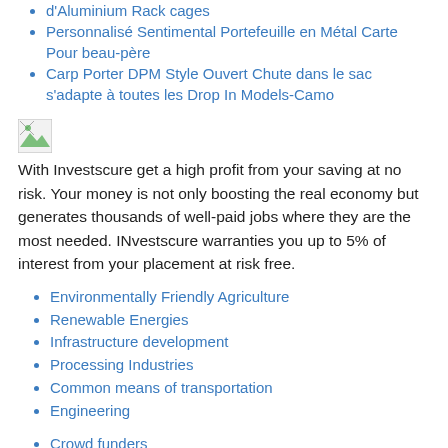d'Aluminium Rack cages
Personnalisé Sentimental Portefeuille en Métal Carte Pour beau-père
Carp Porter DPM Style Ouvert Chute dans le sac s'adapte à toutes les Drop In Models-Camo
[Figure (illustration): Small broken/placeholder image icon]
With Investscure get a high profit from your saving at no risk. Your money is not only boosting the real economy but generates thousands of well-paid jobs where they are the most needed. INvestscure warranties you up to 5% of interest from your placement at risk free.
Environmentally Friendly Agriculture
Renewable Energies
Infrastructure development
Processing Industries
Common means of transportation
Engineering
Crowd funders
Private funders
Businesses
TM Licensing